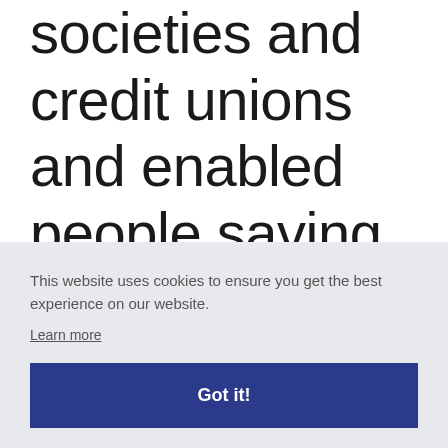societies and credit unions and enabled people saving for their first home to
This website uses cookies to ensure you get the best experience on our website.
Learn more
Got it!